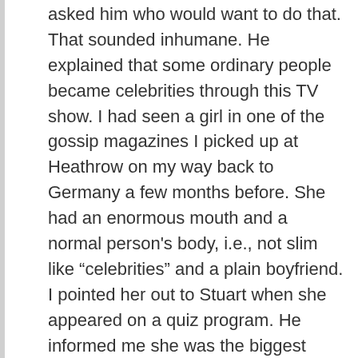asked him who would want to do that. That sounded inhumane. He explained that some ordinary people became celebrities through this TV show. I had seen a girl in one of the gossip magazines I picked up at Heathrow on my way back to Germany a few months before. She had an enormous mouth and a normal person's body, i.e., not slim like “celebrities” and a plain boyfriend. I pointed her out to Stuart when she appeared on a quiz program. He informed me she was the biggest “celebrity” born out of the reality TV show we had discussed.
The new season of this show started a few days into the new year. This one was a different format because the inmates were celebrities. The inmates were the likes of singers who had one hit in the